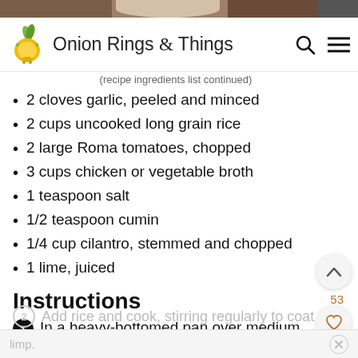Onion Rings & Things
2 cloves garlic, peeled and minced
2 cups uncooked long grain rice
2 large Roma tomatoes, chopped
3 cups chicken or vegetable broth
1 teaspoon salt
1/2 teaspoon cumin
1/4 cup cilantro, stemmed and chopped
1 lime, juiced
Instructions
1 In a heavy-bottomed pan over medium heat oil. Add onions and garlic and cook until limp.
2 Add rice and cook, stirring regularly to coat